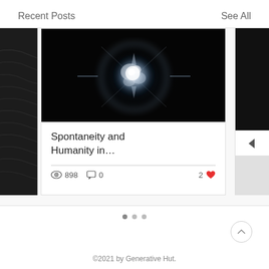Recent Posts
See All
[Figure (photo): Blog post card carousel showing a glowing orb on black background with partial cards visible on left and right]
Spontaneity and Humanity in…
898 views · 0 comments · 2 likes
©2021 by Generative Hut.